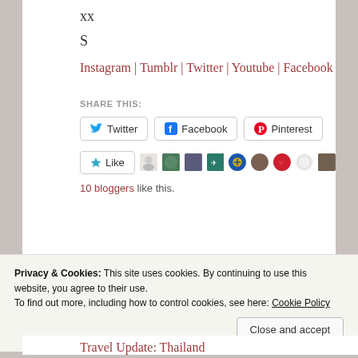xx
S
Instagram | Tumblr | Twitter | Youtube | Facebook
SHARE THIS:
Twitter  Facebook  Pinterest
Like  [avatars]  10 bloggers like this.
Privacy & Cookies: This site uses cookies. By continuing to use this website, you agree to their use.
To find out more, including how to control cookies, see here: Cookie Policy
Close and accept
Travel Update: Thailand